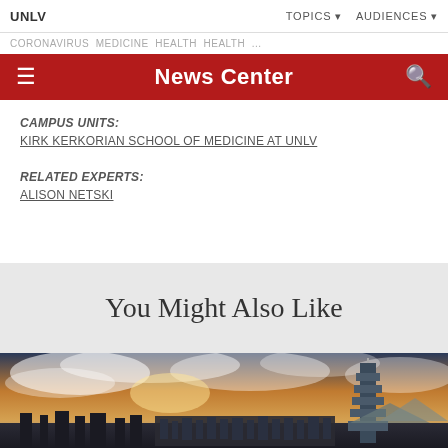UNLV | TOPICS ▼ AUDIENCES ▼
News Center
CAMPUS UNITS:
KIRK KERKORIAN SCHOOL OF MEDICINE AT UNLV
RELATED EXPERTS:
ALISON NETSKI
You Might Also Like
[Figure (photo): Cityscape with tall skyscraper (Taipei 101) against a dramatic cloudy sky at dusk, with mountains in the background]